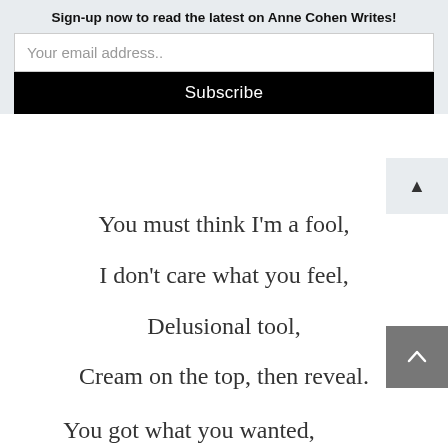Sign-up now to read the latest on Anne Cohen Writes!
Your email address..
Subscribe
You must think I'm a fool,
I don't care what you feel,
Delusional tool,
Cream on the top, then reveal.
You got what you wanted,